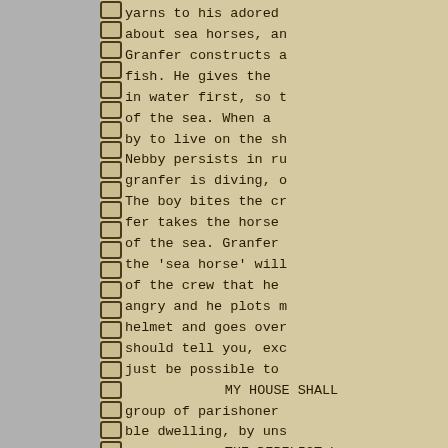yarns to his adored about sea horses, an Granfer constructs a fish. He gives the in water first, so t of the sea. When a by to live on the sh Nebby persists in ru granfer is diving, o The boy bites the cr fer takes the horse of the sea. Granfer the 'sea horse' will of the crew that he angry and he plots m helmet and goes over should tell you, exc just be possible to MY HOUSE SHALL group of parishoner ble dwelling, by uns THE DERELICT b